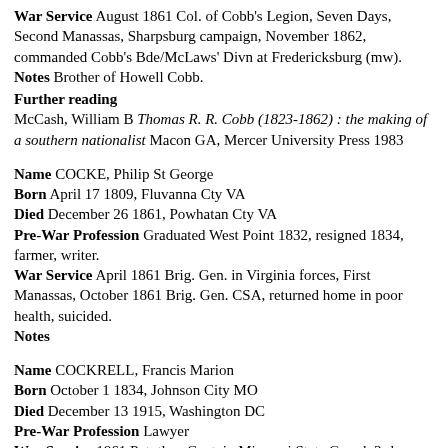War Service August 1861 Col. of Cobb's Legion, Seven Days, Second Manassas, Sharpsburg campaign, November 1862, commanded Cobb's Bde/McLaws' Divn at Fredericksburg (mw). Notes Brother of Howell Cobb.
Further reading
McCash, William B Thomas R. R. Cobb (1823-1862) : the making of a southern nationalist Macon GA, Mercer University Press 1983
Name COCKE, Philip St George
Born April 17 1809, Fluvanna Cty VA
Died December 26 1861, Powhatan Cty VA
Pre-War Profession Graduated West Point 1832, resigned 1834, farmer, writer.
War Service April 1861 Brig. Gen. in Virginia forces, First Manassas, October 1861 Brig. Gen. CSA, returned home in poor health, suicided.
Notes
Name COCKRELL, Francis Marion
Born October 1 1834, Johnson City MO
Died December 13 1915, Washington DC
Pre-War Profession Lawyer
War Service 1861 Pvt. then Capt. in Missouri State Guard, 3rd Missouri, Carthage, Wilson's Creek, Elkhorn Tavern, Col. of 1st